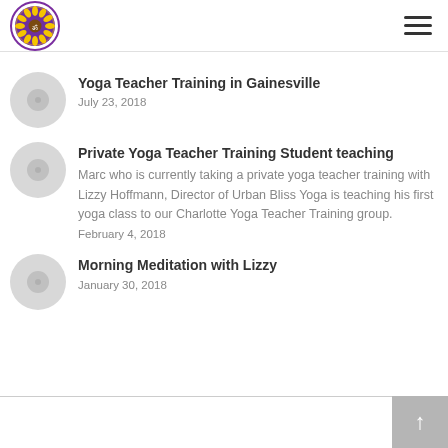Urban Bliss Yoga
Yoga Teacher Training in Gainesville
July 23, 2018
Private Yoga Teacher Training Student teaching
Marc who is currently taking a private yoga teacher training with Lizzy Hoffmann, Director of Urban Bliss Yoga is teaching his first yoga class to our Charlotte Yoga Teacher Training group.
February 4, 2018
Morning Meditation with Lizzy
January 30, 2018
↑